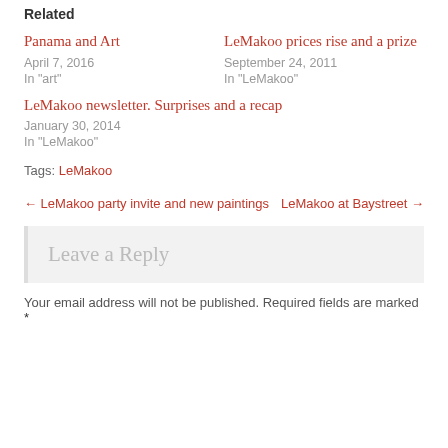Related
Panama and Art
April 7, 2016
In "art"
LeMakoo prices rise and a prize
September 24, 2011
In "LeMakoo"
LeMakoo newsletter. Surprises and a recap
January 30, 2014
In "LeMakoo"
Tags: LeMakoo
← LeMakoo party invite and new paintings
LeMakoo at Baystreet →
Leave a Reply
Your email address will not be published. Required fields are marked *